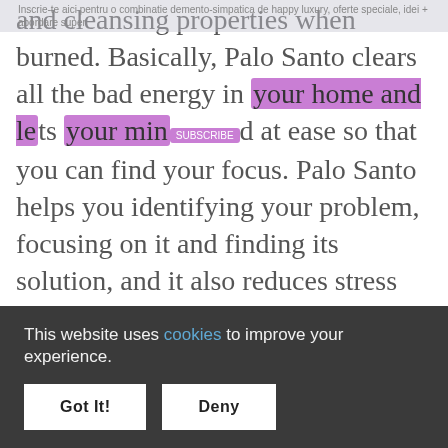and cleansing properties when burned. Basically, Palo Santo clears all the bad energy in your home and lets your mind at ease so that you can find your focus. Palo Santo helps you identifying your problem, focusing on it and finding its solution, and it also reduces stress level. You might not know this about ROSES, but they are used for medical purposes like anti septic, anti inflammatory, and anti parasitic. They are also used for bringing down the fever. As a part of your smudge, rose petals symbolize the direction of...
This website uses cookies to improve your experience.
Got It!
Deny